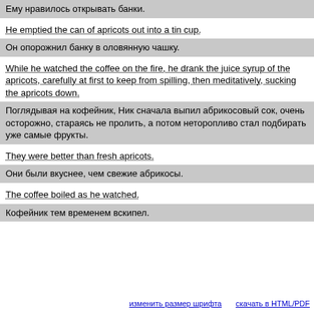Ему нравилось открывать банки.
He emptied the can of apricots out into a tin cup.
Он опорожнил банку в оловянную чашку.
While he watched the coffee on the fire, he drank the juice syrup of the apricots, carefully at first to keep from spilling, then meditatively, sucking the apricots down.
Поглядывая на кофейник, Ник сначала выпил абрикосовый сок, очень осторожно, стараясь не пролить, а потом неторопливо стал подбирать уже самые фрукты.
They were better than fresh apricots.
Они были вкуснее, чем свежие абрикосы.
The coffee boiled as he watched.
Кофейник тем временем вскипел.
изменить размер шрифта    скачать в HTML/PDF